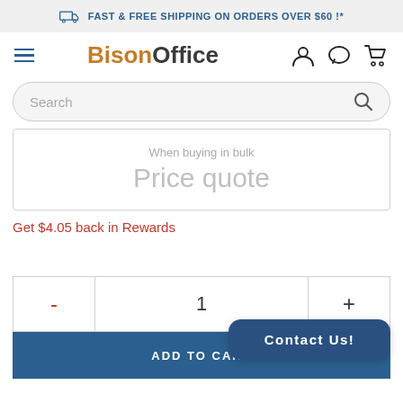FAST & FREE SHIPPING ON ORDERS OVER $60 !*
[Figure (logo): BisonOffice logo with hamburger menu and navigation icons (user, chat, cart)]
Search
When buying in bulk
Price quote
Get $4.05 back in Rewards
- 1 +
ADD TO CART
Contact Us!